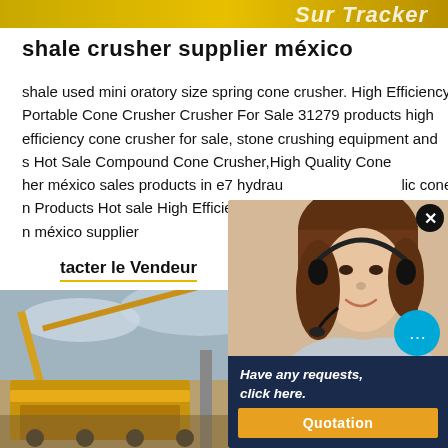[Figure (photo): Top banner with golden/wheat background and partial text logo]
shale crusher supplier méxico
shale used mini oratory size spring cone crusher. High Efficiency Portable Cone Crusher Crusher For Sale 31279 products high efficiency cone crusher for sale, stone crushing equipment and s Hot Sale Compound Cone Crusher,High Quality Cone her méxico sales products in e7 hydraulic cone flotation ll n Products Hot sale High Efficiency cha n méxico supplier
tacter le Vendeur
[Figure (photo): Photo of yellow industrial crusher/mining equipment with cloudy sky]
[Figure (photo): Chat popup overlay with woman wearing headset, close button, chat bubble icon, dark navy footer with italic text 'Have any requests, click here.' and orange Quotation button]